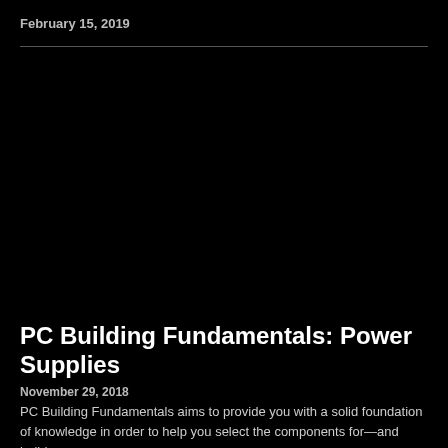February 15, 2019
[Figure (photo): Large dark/black image area below the header divider, likely a product or article hero image for a PC building article]
PC Building Fundamentals: Power Supplies
November 29, 2018
PC Building Fundamentals aims to provide you with a solid foundation of knowledge in order to help you select the components for—and build—a new...